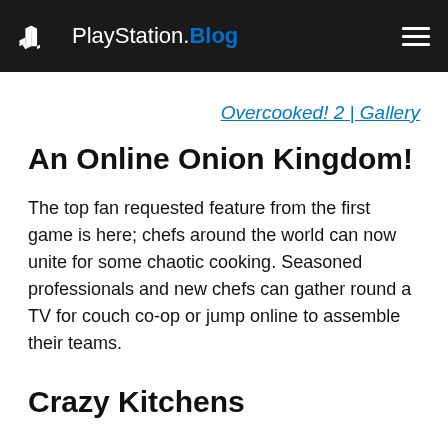PlayStation.Blog
Overcooked! 2 | Gallery
An Online Onion Kingdom!
The top fan requested feature from the first game is here; chefs around the world can now unite for some chaotic cooking. Seasoned professionals and new chefs can gather round a TV for couch co-op or jump online to assemble their teams.
Crazy Kitchens